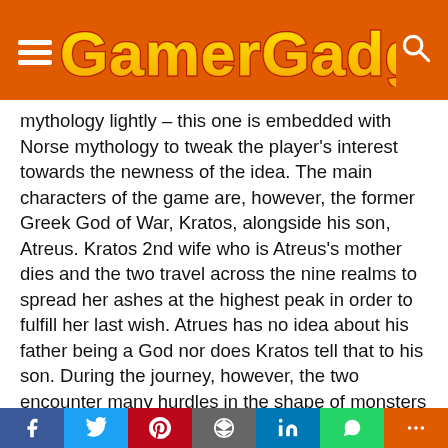GamerGadgets
mythology lightly – this one is embedded with Norse mythology to tweak the player's interest towards the newness of the idea. The main characters of the game are, however, the former Greek God of War, Kratos, alongside his son, Atreus. Kratos 2nd wife who is Atreus's mother dies and the two travel across the nine realms to spread her ashes at the highest peak in order to fulfill her last wish. Atrues has no idea about his father being a God nor does Kratos tell that to his son. During the journey, however, the two encounter many hurdles in the shape of monsters as well as the gods of the Norse world.
The gameplay is highly different from all the previous sequels since it was built from scratch. This game is a single-player only rather than the usual multiplayer installments. Moreover one of the major changes in the use of a magical battle ax by Kratos rather than his signature double-chained blades aka the Blades of